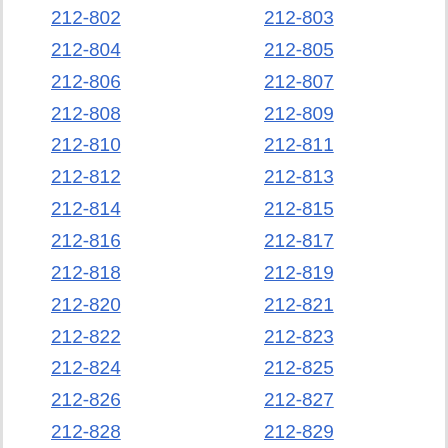212-802
212-803
212-804
212-805
212-806
212-807
212-808
212-809
212-810
212-811
212-812
212-813
212-814
212-815
212-816
212-817
212-818
212-819
212-820
212-821
212-822
212-823
212-824
212-825
212-826
212-827
212-828
212-829